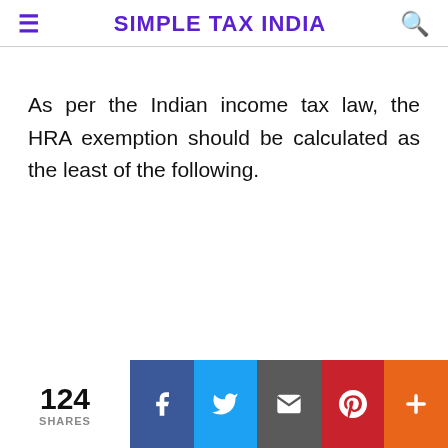SIMPLE TAX INDIA
As per the Indian income tax law, the HRA exemption should be calculated as the least of the following.
124 SHARES | Facebook | Twitter | Email | Pinterest | More